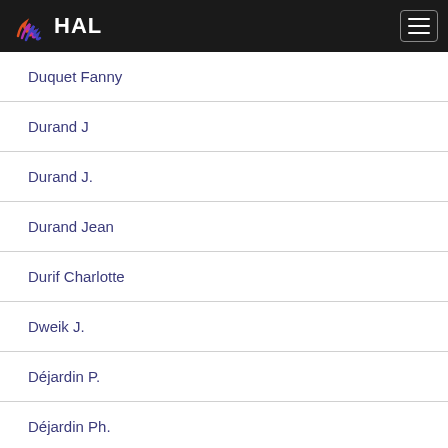HAL
Duquet Fanny
Durand J
Durand J.
Durand Jean
Durif Charlotte
Dweik J.
Déjardin P.
Déjardin Ph.
Dératani André
El Chawich Ghenwa
El Haj Moussa Georges